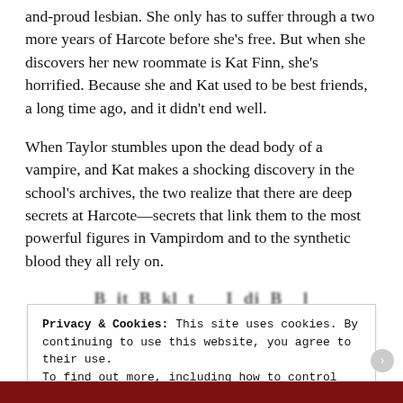and-proud lesbian. She only has to suffer through a two more years of Harcote before she's free. But when she discovers her new roommate is Kat Finn, she's horrified. Because she and Kat used to be best friends, a long time ago, and it didn't end well.
When Taylor stumbles upon the dead body of a vampire, and Kat makes a shocking discovery in the school's archives, the two realize that there are deep secrets at Harcote—secrets that link them to the most powerful figures in Vampirdom and to the synthetic blood they all rely on.
Privacy & Cookies: This site uses cookies. By continuing to use this website, you agree to their use.
To find out more, including how to control cookies, see here: Cookie Policy
Close and accept